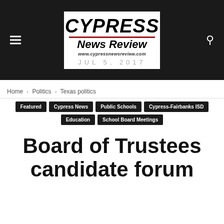Cypress News Review — www.cypressnewsreview.com
Home › Politics › Texas politics
Featured
Cypress News
Public Schools
Cypress-Fairbanks ISD
Education
School Board Meetings
Board of Trustees candidate forum